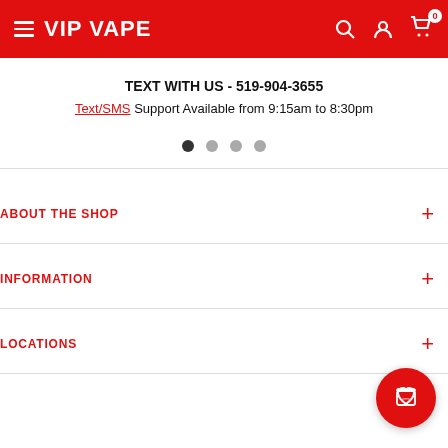VIP VAPE
TEXT WITH US - 519-904-3655
Text/SMS Support Available from 9:15am to 8:30pm
ABOUT THE SHOP
INFORMATION
LOCATIONS